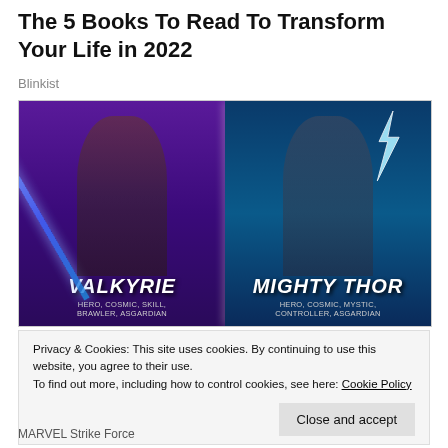The 5 Books To Read To Transform Your Life in 2022
Blinkist
[Figure (illustration): Marvel Strike Force promotional image showing two characters: Valkyrie (left) with a blue sword, and Mighty Thor (right) with a hammer, both in front of purple and blue cosmic backgrounds. The image includes Thor: Love and Thunder movie branding top-left, and Marvel Strike Force logo top-right. Each character has name and tags displayed: VALKYRIE - HERO, COSMIC, SKILL, BRAWLER, ASGARDIAN and MIGHTY THOR - HERO, COSMIC, MYSTIC, CONTROLLER, ASGARDIAN.]
Privacy & Cookies: This site uses cookies. By continuing to use this website, you agree to their use.
To find out more, including how to control cookies, see here: Cookie Policy
Close and accept
MARVEL Strike Force